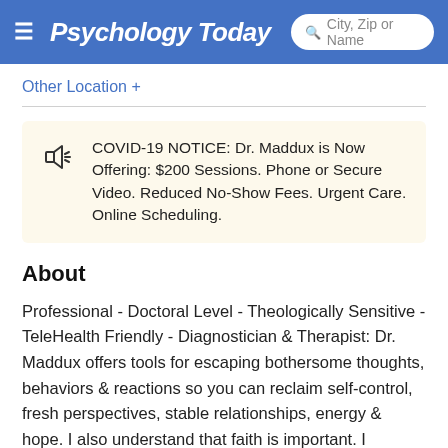Psychology Today | City, Zip or Name
Other Location +
COVID-19 NOTICE: Dr. Maddux is Now Offering: $200 Sessions. Phone or Secure Video. Reduced No-Show Fees. Urgent Care. Online Scheduling.
About
Professional - Doctoral Level - Theologically Sensitive - TeleHealth Friendly - Diagnostician & Therapist: Dr. Maddux offers tools for escaping bothersome thoughts, behaviors & reactions so you can reclaim self-control, fresh perspectives, stable relationships, energy & hope. I also understand that faith is important. I completed postdoctoral Theology & Ministry education at Princeton Theological Seminary to ethically combine faith-based